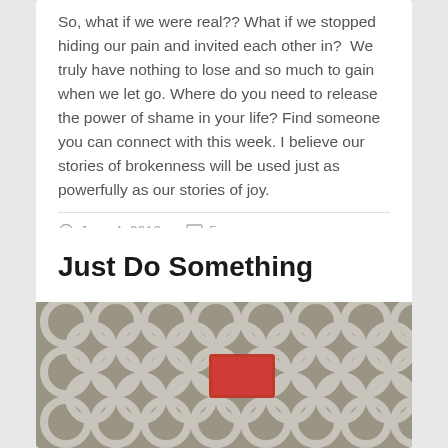So, what if we were real?? What if we stopped hiding our pain and invited each other in?  We truly have nothing to lose and so much to gain when we let go. Where do you need to release the power of shame in your life? Find someone you can connect with this week. I believe our stories of brokenness will be used just as powerfully as our stories of joy.
June 4, 2016   5
Just Do Something
[Figure (photo): Photo of grey and white quatrefoil patterned fabric/curtain with a red rectangular object in the center]